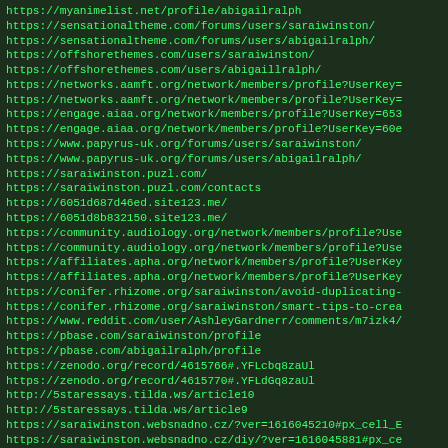https://myanimelist.net/profile/abigailralph
https://sensationaltheme.com/forums/users/saraiwinston/
https://sensationaltheme.com/forums/users/abigailralph/
https://offshorethemes.com/users/saraiwinston/
https://offshorethemes.com/users/abigaillralph/
https://networks.aamft.org/network/members/profile?UserKey=
https://networks.aamft.org/network/members/profile?UserKey=
https://engage.aiaa.org/network/members/profile?UserKey=653
https://engage.aiaa.org/network/members/profile?UserKey=60e
https://www.papyrus-uk.org/forums/users/saraiwinston/
https://www.papyrus-uk.org/forums/users/abigailralph/
https://saraiwinston.puzl.com/
https://saraiwinston.puzl.com/contacts
https://6051d687d46ed.site123.me/
https://6051d8b832150.site123.me/
https://community.audiology.org/network/members/profile?Use
https://community.audiology.org/network/members/profile?Use
https://affiliates.apha.org/network/members/profile?UserKey
https://affiliates.apha.org/network/members/profile?UserKey
https://conifer.rhizome.org/saraiwinston/avoid-duplicating-
https://conifer.rhizome.org/saraiwinston/smart-tips-to-crea
https://www.reddit.com/user/AshleyGardnerr/comments/m7izk4/
https://pbase.com/saraiwinston/profile
https://pbase.com/abigailralph/profile
https://zenodo.org/record/4615766#.YFLcbq8zaUl
https://zenodo.org/record/4615770#.YFLdGq8zaUl
http://5staressays.tilda.ws/article10
http://5staressays.tilda.ws/article9
https://saraiwinston.websnadno.cz/?ver=1616045210#px_cell_E
https://saraiwinston.websnadno.cz/diy/?ver=1616045881#px_ce